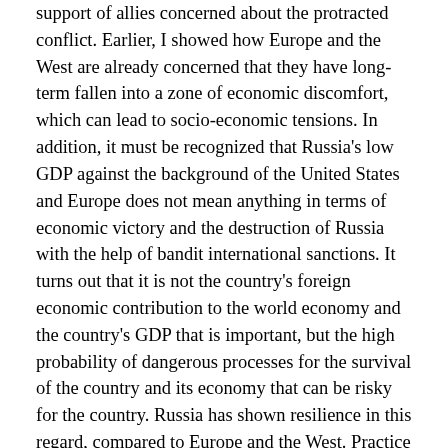support of allies concerned about the protracted conflict. Earlier, I showed how Europe and the West are already concerned that they have long-term fallen into a zone of economic discomfort, which can lead to socio-economic tensions. In addition, it must be recognized that Russia's low GDP against the background of the United States and Europe does not mean anything in terms of economic victory and the destruction of Russia with the help of bandit international sanctions. It turns out that it is not the country's foreign economic contribution to the world economy and the country's GDP that is important, but the high probability of dangerous processes for the survival of the country and its economy that can be risky for the country. Russia has shown resilience in this regard, compared to Europe and the West. Practice has shown that economic contribution to the world economy is not a key indicator of a country's economic stability. Apparently, now the world economy is so arranged that it is pointless to manipulate and build influence on underdeveloped